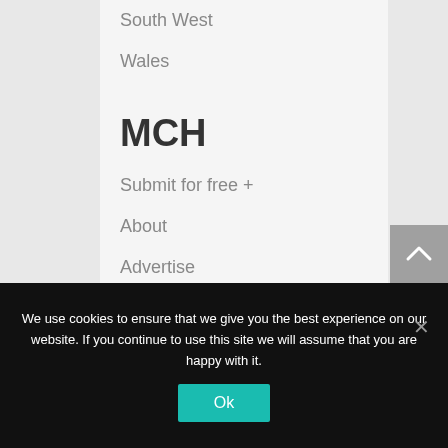South West
Wales
MCH
Submit for free +
About
Advertise
Contact
We use cookies to ensure that we give you the best experience on our website. If you continue to use this site we will assume that you are happy with it.
Ok